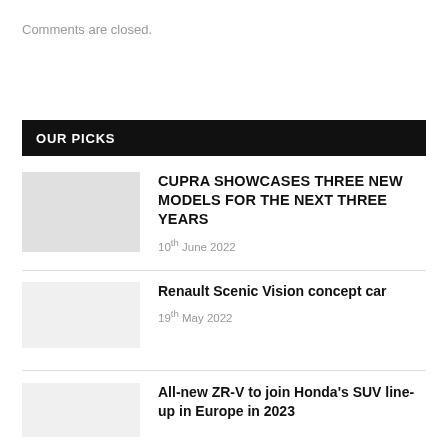Comments are closed.
OUR PICKS
CUPRA SHOWCASES THREE NEW MODELS FOR THE NEXT THREE YEARS
10th June 2022
Renault Scenic Vision concept car
19th May 2022
All-new ZR-V to join Honda's SUV line-up in Europe in 2023